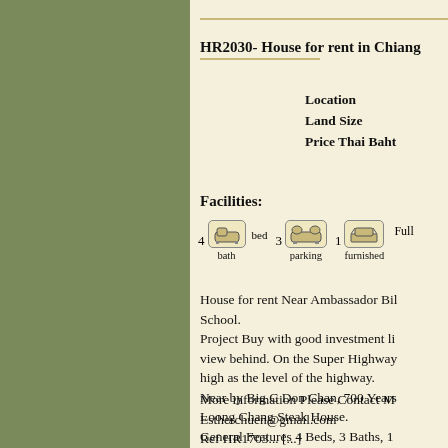HR2030- House for rent in Chiang...
Location
Land Size
Price Thai Baht
Facilities:
4 bed   3 bath   1 parking   Full furnished
House for rent Near Ambassador Bi... School.
Project Buy with good investment li... view behind. On the Super Highway... high as the level of the highway.
Near by Big C Don Chan, 700 Years... Loong Chang Steak House.
General Features 4 Beds, 3 Baths, 1...
Hot-Water, TV Refrigerator or fridge...
Facilities: Security, Children s Play g...
More information Please Contact M...
Estherchuen@gmail.com
Ref HR1703... [...]